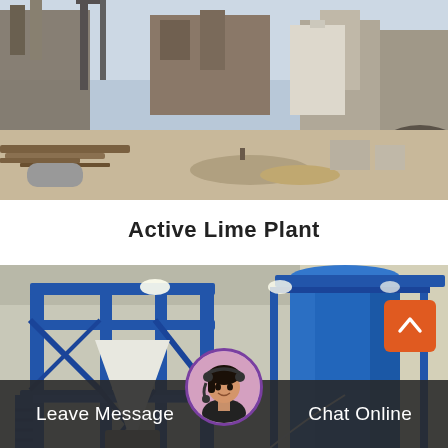[Figure (photo): Outdoor industrial construction site with heavy equipment, steel beams, pipes, and concrete structures — an active lime plant under construction or in operation.]
Active Lime Plant
[Figure (photo): Indoor industrial plant showing a blue steel elevated platform/structure with a white hopper/funnel, a large blue cylindrical silo, conveyor equipment, and control machinery inside a warehouse.]
Leave Message    Chat Online